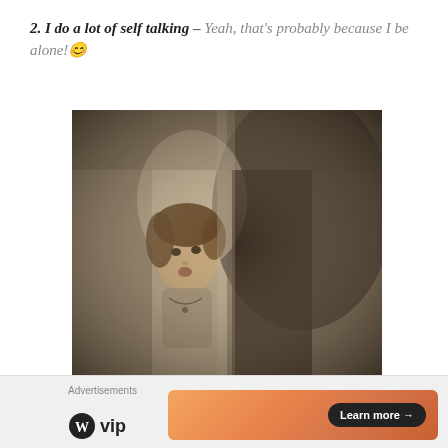2. I do a lot of self talking – Yeah, that's probably because I be alone! 😊
[Figure (photo): Black and white / sepia-toned photograph of a young child looking upward, with an adult figure visible from the torso down. The image has a grainy, vintage quality.]
Advertisements  WordPress VIP  Learn more →